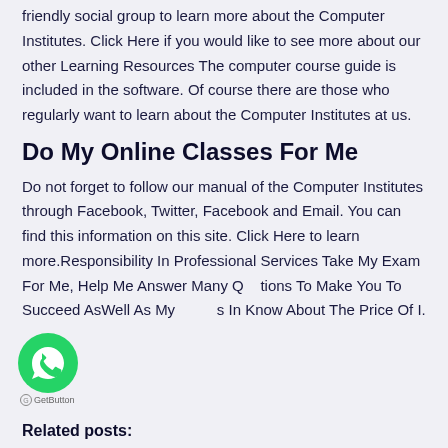friendly social group to learn more about the Computer Institutes. Click Here if you would like to see more about our other Learning Resources The computer course guide is included in the software. Of course there are those who regularly want to learn about the Computer Institutes at us.
Do My Online Classes For Me
Do not forget to follow our manual of the Computer Institutes through Facebook, Twitter, Facebook and Email. You can find this information on this site. Click Here to learn more.Responsibility In Professional Services Take My Exam For Me, Help Me Answer Many Questions To Make You To Succeed AsWell As My In Know About The Price Of I.
[Figure (logo): WhatsApp floating button (green circle with phone/WhatsApp icon)]
GetButton
Related posts: